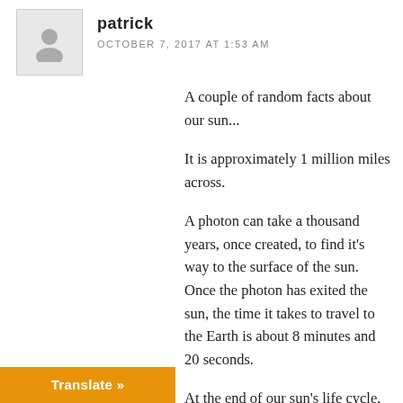[Figure (illustration): Grey avatar silhouette icon of a person, inside a light grey square border]
patrick
OCTOBER 7, 2017 AT 1:53 AM
A couple of random facts about our sun...
It is approximately 1 million miles across.
A photon can take a thousand years, once created, to find it's way to the surface of the sun. Once the photon has exited the sun, the time it takes to travel to the Earth is about 8 minutes and 20 seconds.
At the end of our sun's life cycle, it will expand to about 100 million miles across, becoming a Red Dwarf.
The sun, at the Red Dwarf stage, will become so large that it will exceed the Earth's orbit.
Translate »